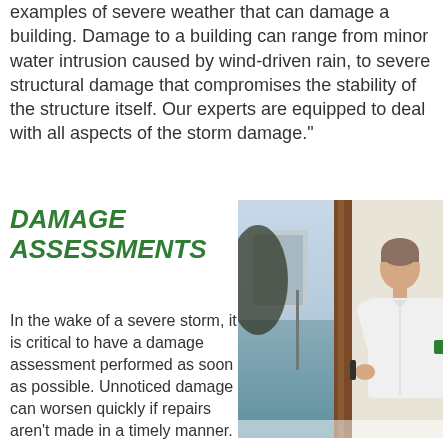examples of severe weather that can damage a building. Damage to a building can range from minor water intrusion caused by wind-driven rain, to severe structural damage that compromises the stability of the structure itself. Our experts are equipped to deal with all aspects of the storm damage."
DAMAGE ASSESSMENTS
[Figure (photo): A man in a white shirt inspecting a door or window frame, with a waterfront or flooded scene visible through the glass behind him.]
In the wake of a severe storm, it is critical to have a damage assessment performed as soon as possible. Unnoticed damage can worsen quickly if repairs aren't made in a timely manner.